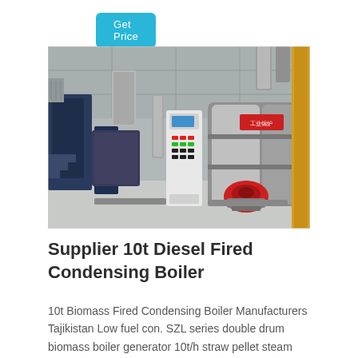Get Price
[Figure (photo): Industrial boiler room with two horizontal steam boilers with red burners, control panels, piping, and yellow structural supports, in a grey concrete facility.]
Supplier 10t Diesel Fired Condensing Boiler
10t Biomass Fired Condensing Boiler Manufacturers Tajikistan Low fuel con. SZL series double drum biomass boiler generator 10t/h straw pellet steam